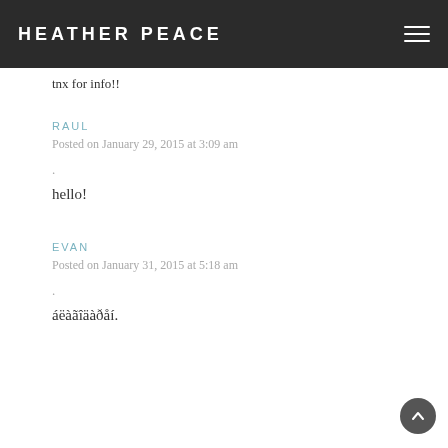HEATHER PEACE
tnx for info!!
RAUL
Posted on January 29, 2015 at 3:09 am
.
hello!
EVAN
Posted on January 31, 2015 at 5:18 am
.
áëàãîäàðåí.